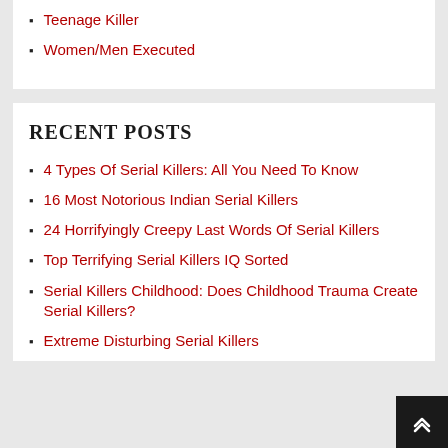Teenage Killer
Women/Men Executed
RECENT POSTS
4 Types Of Serial Killers: All You Need To Know
16 Most Notorious Indian Serial Killers
24 Horrifyingly Creepy Last Words Of Serial Killers
Top Terrifying Serial Killers IQ Sorted
Serial Killers Childhood: Does Childhood Trauma Create Serial Killers?
Extreme Disturbing Serial Killers